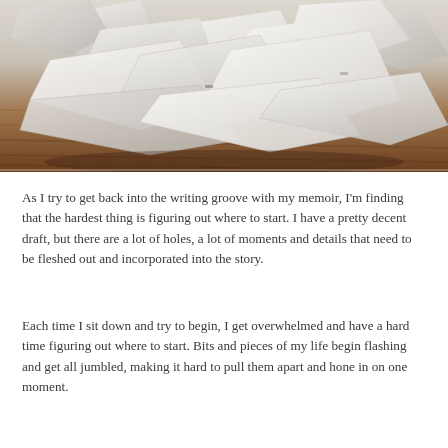[Figure (photo): A pile of crumpled and folded white paper pieces scattered on a wooden surface. The papers appear to be crinkled documents or origami-like folds, lit in warm tones against a dark brown wood background.]
As I try to get back into the writing groove with my memoir, I'm finding that the hardest thing is figuring out where to start. I have a pretty decent draft, but there are a lot of holes, a lot of moments and details that need to be fleshed out and incorporated into the story.
Each time I sit down and try to begin, I get overwhelmed and have a hard time figuring out where to start. Bits and pieces of my life begin flashing and get all jumbled, making it hard to pull them apart and hone in on one moment.